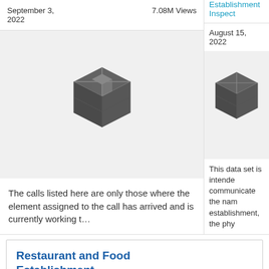September 3, 2022   7.08M Views
[Figure (illustration): 3D box/cube icon in dark gray on light gray background]
The calls listed here are only those where the element assigned to the call has arrived and is currently working t...
Establishment Inspect
August 15, 2022
[Figure (illustration): 3D box/cube icon in dark gray on light gray background]
This data set is intended communicate the name establishment, the phy
Restaurant and Food Establishment Score Range
Filtered
Services
This data set is intended to communicate the name of establishment, the physical location of the establishment,